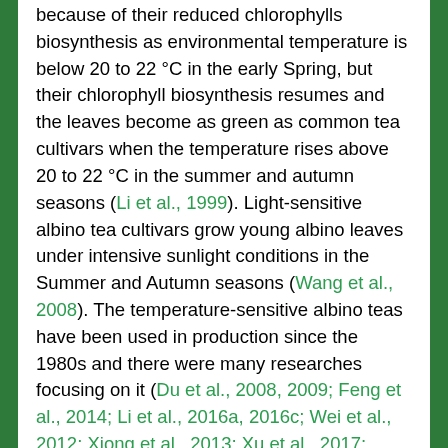because of their reduced chlorophylls biosynthesis as environmental temperature is below 20 to 22 °C in the early Spring, but their chlorophyll biosynthesis resumes and the leaves become as green as common tea cultivars when the temperature rises above 20 to 22 °C in the summer and autumn seasons (Li et al., 1999). Light-sensitive albino tea cultivars grow young albino leaves under intensive sunlight conditions in the Summer and Autumn seasons (Wang et al., 2008). The temperature-sensitive albino teas have been used in production since the 1980s and there were many researches focusing on it (Du et al., 2008, 2009; Feng et al., 2014; Li et al., 2016a, 2016c; Wei et al., 2012; Xiong et al., 2013; Xu et al., 2017; Yuan et al., 2015). Whereas the light-sensitive albino teas were discovered in recent 10 years and there are many technical issues remaining to be solved during production, such as the low survival rate of the transplanted tea plants due to